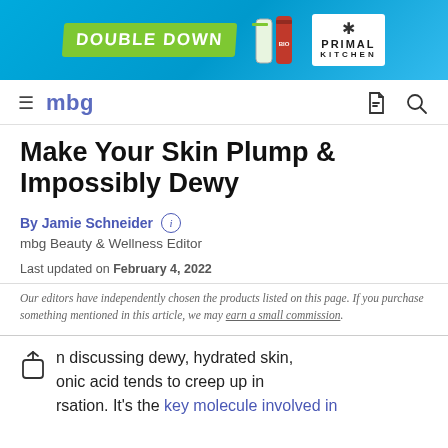[Figure (photo): Advertisement banner for Primal Kitchen: blue background with 'DOUBLE DOWN' green badge, product bottles, and Primal Kitchen logo in white box]
mbg
Make Your Skin Plump & Impossibly Dewy
By Jamie Schneider (i)
mbg Beauty & Wellness Editor
Last updated on February 4, 2022
Our editors have independently chosen the products listed on this page. If you purchase something mentioned in this article, we may earn a small commission.
n discussing dewy, hydrated skin, onic acid tends to creep up in rsation. It's the key molecule involved in